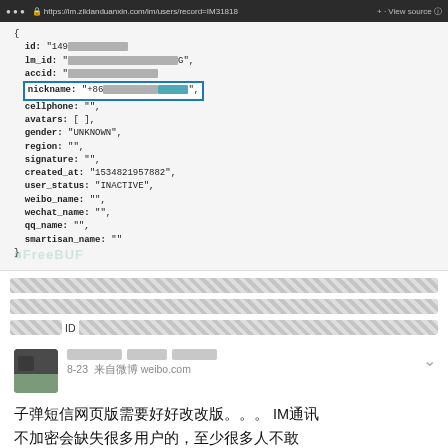[Figure (screenshot): Browser screenshot showing JSON API response with fields: id, lm_id, accid, nickname (highlighted in blue border with '+86' prefix), cellphone, avatars, gender: UNKNOWN, region, signature, created_at: 1534821957882, user_status: INACTIVE, weibo_name, wechat_name, qq_name, smartisan_name. Several fields are blurred/redacted. FreeBuf watermark visible.]
（redacted line 1）
（redacted line with 昵称 and 手机 visible）
（redacted line with ID visible）
[Figure (screenshot): Weibo post card with blurred avatar and username. Date: 8-23 来自微博 weibo.com. Post text: 子弹短信网页版需要好好改改版。。。IM通讯不加密会缺失很多用户的，至少很多人不敢用。]
子弹短信网页版需要好好改改版。。。IM通讯不加密会缺失很多用户的，至少很多人不敢用。